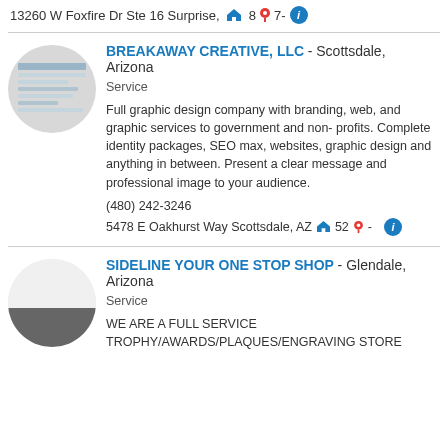13260 W Foxfire Dr Ste 16 Surprise, 807-
[Figure (photo): Circular thumbnail image of Breakaway Creative LLC showing document/design materials]
BREAKAWAY CREATIVE, LLC - Scottsdale, Arizona
Service
Full graphic design company with branding, web, and graphic services to government and non-profits. Complete identity packages, SEO max, websites, graphic design and anything in between. Present a clear message and professional image to your audience.
(480) 242-3246
5478 E Oakhurst Way Scottsdale, AZ 852-
[Figure (photo): Circular thumbnail image of Sideline Your One Stop Shop, half white and half grey]
SIDELINE YOUR ONE STOP SHOP - Glendale, Arizona
Service
WE ARE A FULL SERVICE
TROPHY/AWARDS/PLAQUES/ENGRAVING STORE